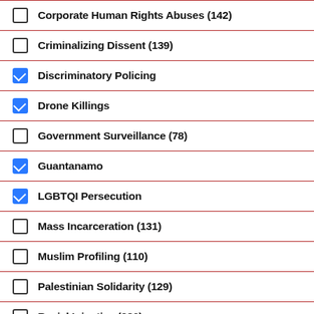Corporate Human Rights Abuses (142)
Criminalizing Dissent (139)
Discriminatory Policing
Drone Killings
Government Surveillance (78)
Guantanamo
LGBTQI Persecution
Mass Incarceration (131)
Muslim Profiling (110)
Palestinian Solidarity (129)
Racial Injustice (386)